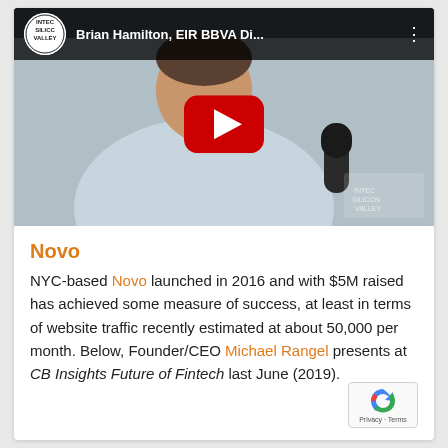[Figure (screenshot): YouTube video thumbnail showing Brian Hamilton, EIR BBVA Di... with INTEC Silicon Valley channel logo, a man in a blue shirt holding a microphone, with a red YouTube play button overlay]
Novo
NYC-based Novo launched in 2016 and with $5M raised has achieved some measure of success, at least in terms of website traffic recently estimated at about 50,000 per month. Below, Founder/CEO Michael Rangel presents at CB Insights Future of Fintech last June (2019).